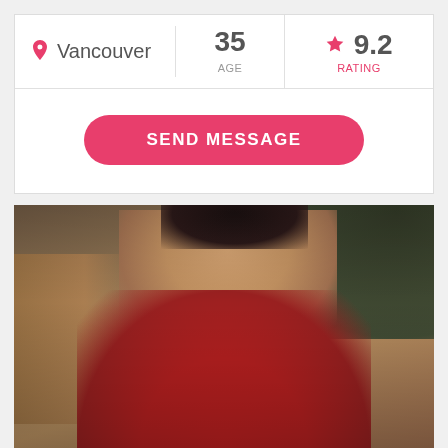| 📍 Vancouver | 35
AGE | ★ 9.2
RATING |
SEND MESSAGE
[Figure (photo): Photo of a person wearing a red swimsuit, looking upward, with decorative wall art and trees in the background.]